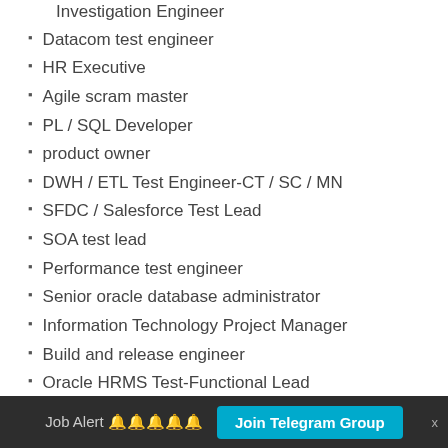Investigation Engineer (truncated at top)
Datacom test engineer
HR Executive
Agile scram master
PL / SQL Developer
product owner
DWH / ETL Test Engineer-CT / SC / MN
SFDC / Salesforce Test Lead
SOA test lead
Performance test engineer
Senior oracle database administrator
Information Technology Project Manager
Build and release engineer
Oracle HRMS Test-Functional Lead
Production SQL Server Database Administrator
Total Vacancies: Various Vacancies
Apply Mode: Online
Job Alert 🔔🔔🔔🔔🔔  Join Telegram Group